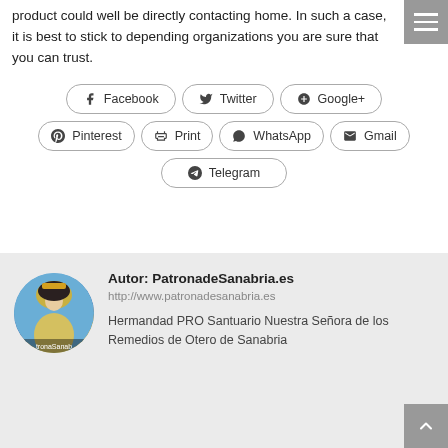product could well be directly contacting home. In such a case, it is best to stick to depending organizations you are sure that you can trust.
[Figure (infographic): Row of social share buttons: Facebook, Twitter, Google+, Pinterest, Print, WhatsApp, Gmail, Telegram]
Autor: PatronadeSanabria.es
http://www.patronadesanabria.es
Hermandad PRO Santuario Nuestra Señora de los Remedios de Otero de Sanabria